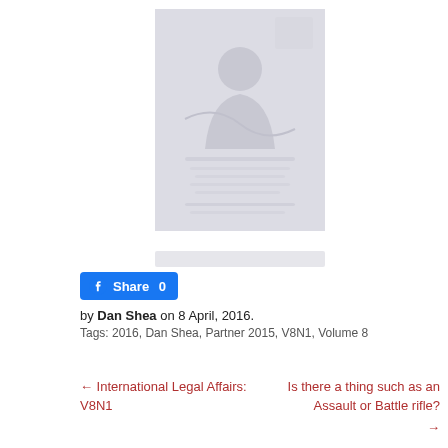[Figure (photo): Faded/washed-out book or magazine cover image with a figure in the center, very light gray tones]
Share 0
by Dan Shea on 8 April, 2016.
Tags: 2016, Dan Shea, Partner 2015, V8N1, Volume 8
← International Legal Affairs: V8N1
Is there a thing such as an Assault or Battle rifle?
→